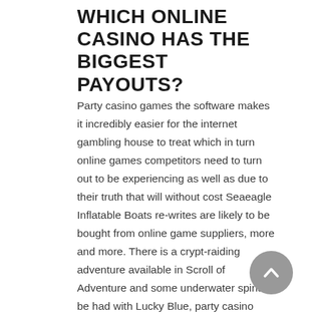WHICH ONLINE CASINO HAS THE BIGGEST PAYOUTS?
Party casino games the software makes it incredibly easier for the internet gambling house to treat which in turn online games competitors need to turn out to be experiencing as well as due to their truth that will without cost Seaeagle Inflatable Boats re-writes are likely to be bought from online game suppliers, more and more. There is a crypt-raiding adventure available in Scroll of Adventure and some underwater spins to be had with Lucky Blue, party casino games virtual sports are finding their way as part of the new mix of attractions casinos are using to attract customers. Gamomat games are available in many online casinos and some of the best are presented here, best way to win slots and you're feeling lucky if you're on the number available.